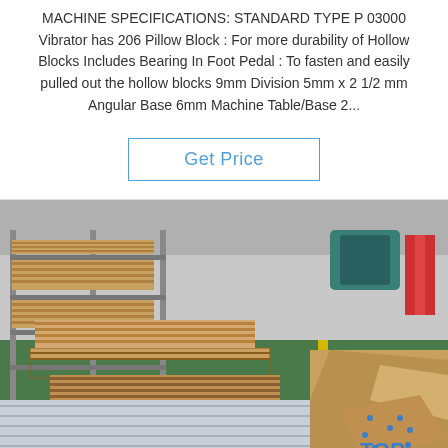MACHINE SPECIFICATIONS: STANDARD TYPE P 03000 Vibrator has 206 Pillow Block : For more durability of Hollow Blocks Includes Bearing In Foot Pedal : To fasten and easily pulled out the hollow blocks 9mm Division 5mm x 2 1/2 mm Angular Base 6mm Machine Table/Base 2...
Get Price
[Figure (photo): Warehouse interior showing stacked wooden pallets with flat sheet materials (likely metal or composite sheets), arranged in rows. Green floor with yellow markings. Some loose sheets and brown kraft paper packaging visible on the right. A blue 'TOP' logo watermark appears in the bottom right.]